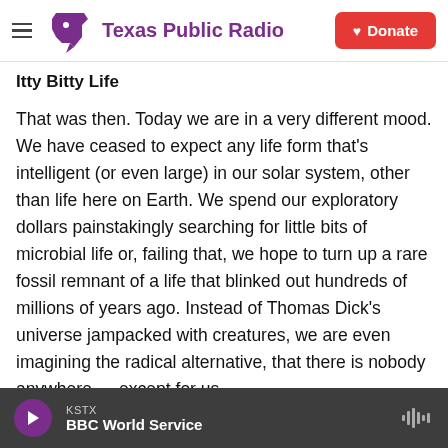Texas Public Radio — Donate
Itty Bitty Life
That was then. Today we are in a very different mood. We have ceased to expect any life form that's intelligent (or even large) in our solar system, other than life here on Earth. We spend our exploratory dollars painstakingly searching for little bits of microbial life or, failing that, we hope to turn up a rare fossil remnant of a life that blinked out hundreds of millions of years ago. Instead of Thomas Dick's universe jampacked with creatures, we are even imagining the radical alternative, that there is nobody anywhere — except for us.
KSTX — BBC World Service